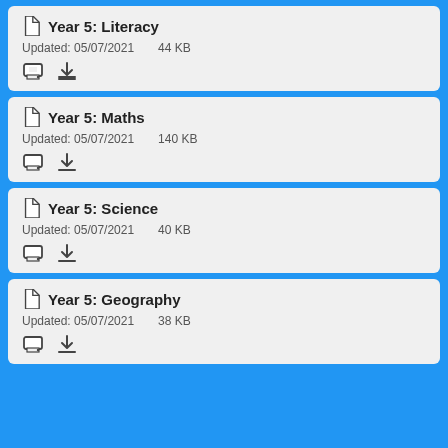Year 5: Literacy
Updated: 05/07/2021   44 KB
Year 5: Maths
Updated: 05/07/2021   140 KB
Year 5: Science
Updated: 05/07/2021   40 KB
Year 5: Geography
Updated: 05/07/2021   38 KB